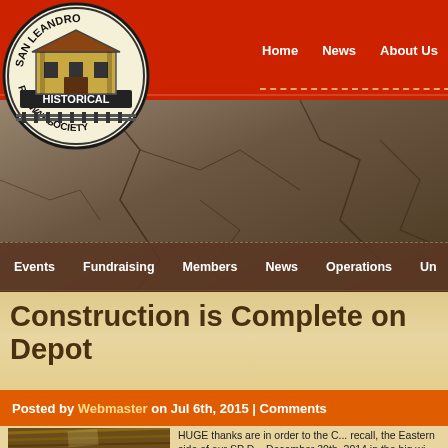[Figure (logo): San Leandro Historical Railway Society circular logo with building illustration]
Home   News   About Us   Photos   Memb...
Events   Fundraising   Members   News   Operations   Un...
Construction is Complete on Depot
Posted by Webmaster on Jul 6th, 2015 | Comments
[Figure (photo): Wooden construction/roof beams photo]
HUGE thanks are in order to the C... recall, the Eastern side of our SP D... December 30th, 2014 in the big wi... Leandro. A large Eucalyptus tree...